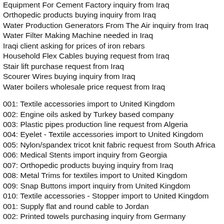Equipment For Cement Factory inquiry from Iraq
Orthopedic products buying inquiry from Iraq
Water Production Generators From The Air inquiry from Iraq
Water Filter Making Machine needed in Iraq
Iraqi client asking for prices of iron rebars
Household Flex Cables buying request from Iraq
Stair lift purchase request from Iraq
Scourer Wires buying inquiry from Iraq
Water boilers wholesale price request from Iraq
001: Textile accessories import to United Kingdom
002: Engine oils asked by Turkey based company
003: Plastic pipes production line request from Algeria
004: Eyelet - Textile accessories import to United Kingdom
005: Nylon/spandex tricot knit fabric request from South Africa
006: Medical Stents import inquiry from Georgia
007: Orthopedic products buying inquiry from Iraq
008: Metal Trims for textiles import to United Kingdom
009: Snap Buttons import inquiry from United Kingdom
010: Textile accessories - Stopper import to United Kingdom
001: Supply flat and round cable to Jordan
002: Printed towels purchasing inquiry from Germany